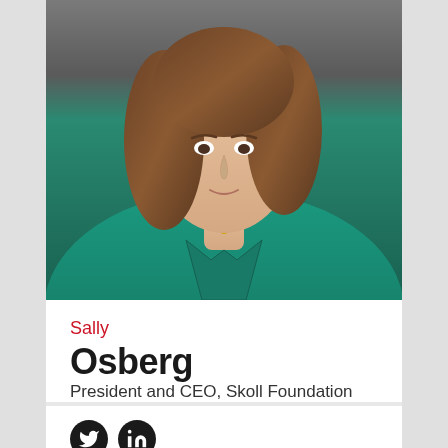[Figure (photo): Professional headshot of Sally Osberg wearing a green/teal blouse, brown hair, with a necklace, photographed against a neutral background.]
Sally Osberg
President and CEO, Skoll Foundation
[Figure (other): Social media icons: Twitter and LinkedIn, displayed as white icons on dark circular backgrounds.]
[Figure (photo): Bottom portion of another person's photo, partially visible at the bottom of the page.]